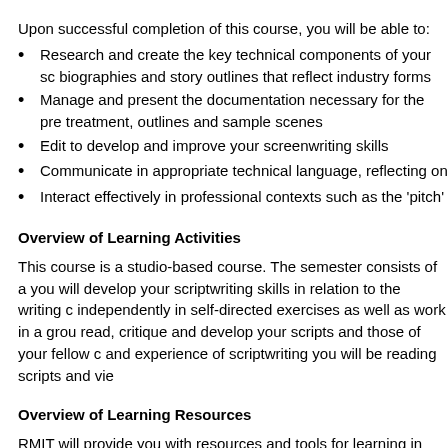Upon successful completion of this course, you will be able to:
Research and create the key technical components of your sc biographies and story outlines that reflect industry forms
Manage and present the documentation necessary for the pr treatment, outlines and sample scenes
Edit to develop and improve your screenwriting skills
Communicate in appropriate technical language, reflecting on
Interact effectively in professional contexts such as the 'pitch'
Overview of Learning Activities
This course is a studio-based course. The semester consists of a you will develop your scriptwriting skills in relation to the writing c independently in self-directed exercises as well as work in a grou read, critique and develop your scripts and those of your fellow c and experience of scriptwriting you will be reading scripts and vie
Overview of Learning Resources
RMIT will provide you with resources and tools for learning in this